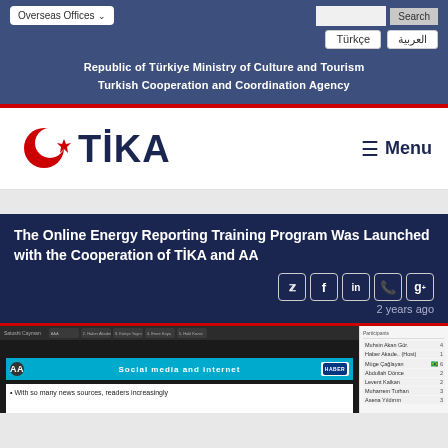Overseas Offices | Search | Türkçe | العربية
Republic of Türkiye Ministry of Culture and Tourism
Turkish Cooperation and Coordination Agency
[Figure (logo): TİKA logo with Turkish crescent and star in red, text TİKA in dark blue]
The Online Energy Reporting Training Program Was Launched with the Cooperation of TİKA and AA
2 years ago
[Figure (screenshot): Screenshot of an online video conference showing a slide about Social media and internet with bullet point: With so many news sources, readers increasingly. Sidebar shows participant list.]